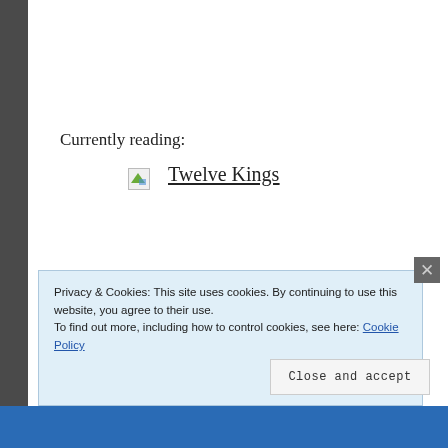Currently reading:
[Figure (other): Broken image placeholder icon (small green triangle on white/grey background) next to a book link]
Twelve Kings
Privacy & Cookies: This site uses cookies. By continuing to use this website, you agree to their use.
To find out more, including how to control cookies, see here: Cookie Policy
Close and accept